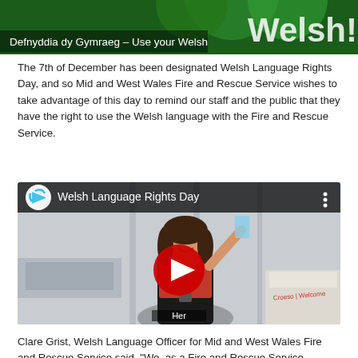[Figure (photo): Top banner image showing green background with text 'Defnyddia dy Gymraeg - Use your Welsh' and 'Welsh!' in large white letters]
The 7th of December has been designated Welsh Language Rights Day, and so Mid and West Wales Fire and Rescue Service wishes to take advantage of this day to remind our staff and the public that they have the right to use the Welsh language with the Fire and Rescue Service.
[Figure (screenshot): YouTube video embed titled 'Welsh Language Rights Day' showing a woman smiling and gesturing with a YouTube play button overlay, and a label 'Her' at the bottom]
Clare Grist, Welsh Language Officer for Mid and West Wales Fire and Rescue Service said, "We, as a Fire and Rescue Service,